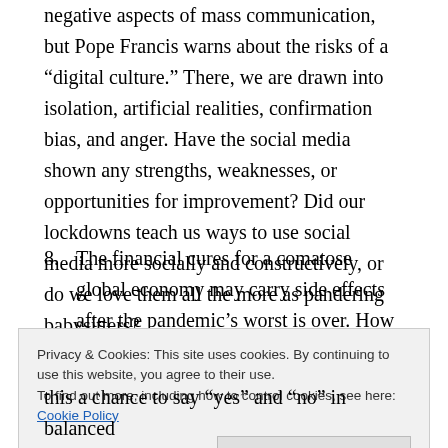negative aspects of mass communication, but Pope Francis warns about the risks of a “digital culture.” There, we are drawn into isolation, artificial realities, confirmation bias, and anger. Have the social media shown any strengths, weaknesses, or opportunities for improvement? Did our lockdowns teach us ways to use social media more socially and constructively, or do we love them all the more as pandering babysitters?
8. The financial cures for a comatose global economy may carry side effects after the pandemic’s worst is over. How can we express to our leaders and show in
Privacy & Cookies: This site uses cookies. By continuing to use this website, you agree to their use.
To find out more, including how to control cookies, see here: Cookie Policy
this a chance to say “yes” and “no” in balanced